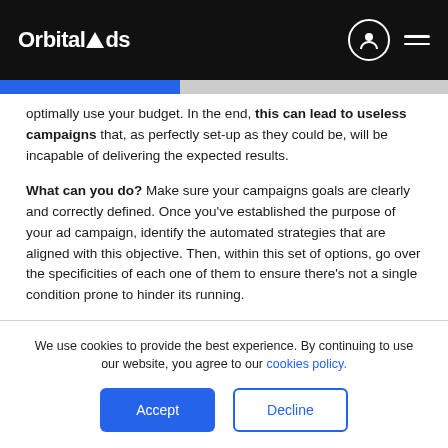OrbitalAds
optimally use your budget. In the end, this can lead to useless campaigns that, as perfectly set-up as they could be, will be incapable of delivering the expected results.
What can you do? Make sure your campaigns goals are clearly and correctly defined. Once you've established the purpose of your ad campaign, identify the automated strategies that are aligned with this objective. Then, within this set of options, go over the specificities of each one of them to ensure there's not a single condition prone to hinder its running.
We use cookies to provide the best experience. By continuing to use our website, you agree to our cookies policy.